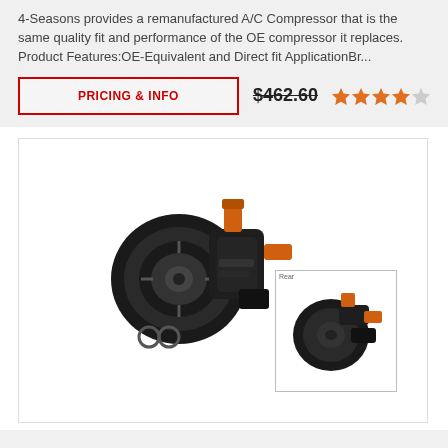4-Seasons provides a remanufactured A/C Compressor that is the same quality fit and performance of the OE compressor it replaces. Product Features:OE-Equivalent and Direct fit ApplicationBr...
PRICING & INFO
$462.60
[Figure (photo): Product photo of a black remanufactured A/C compressor with orange fittings and two O-rings, with a smaller thumbnail inset showing a rear view of the same compressor]